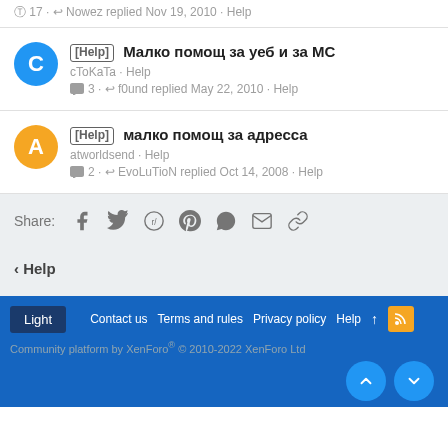17 · Nowez replied Nov 19, 2010 · Help
[Help] Малко помощ за уеб и за МС
cToKaTa · Help
3 · f0und replied May 22, 2010 · Help
[Help] малко помощ за адресса
atworldsend · Help
2 · EvoLuTioN replied Oct 14, 2008 · Help
Share:
‹ Help
Light  Contact us  Terms and rules  Privacy policy  Help  ↑  RSS
Community platform by XenForo® © 2010-2022 XenForo Ltd